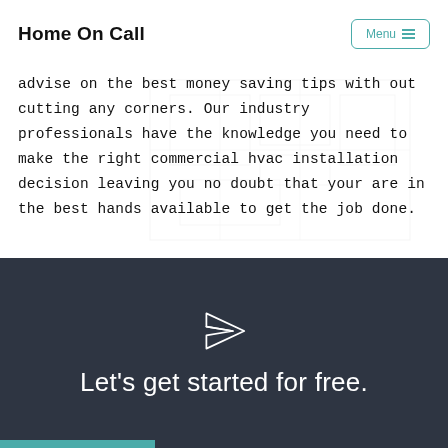Home On Call
advise on the best money saving tips with out cutting any corners. Our industry professionals have the knowledge you need to make the right commercial hvac installation decision leaving you no doubt that your are in the best hands available to get the job done.
[Figure (illustration): Paper plane / send icon in white on dark background]
Let's get started for free.